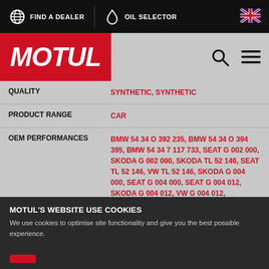FIND A DEALER  OIL SELECTOR
[Figure (logo): Motul logo in white italic bold text on red background]
| Property | Value |
| --- | --- |
| QUALITY | SYNTHETIC, SYNTHETIC |
| PRODUCT RANGE | CAR |
| OEM PERFORMANCES | BMW 54 34 O 392 235, BMW 54 34 O 394 395, BMW 54 34 7 117 733, SEAT G 002 000, SKODA G 002 000, SKODA TL 52 146, SEAT TL 52 146, VW TL 52 146, SKODA G 004 000, SEAT G 004 000, SEAT G 004 012, SKODA G 004 012, VW G 004 012, CHRYSLER 68088485AA, CHRYSLER MS 11655, DODGE MS 11655, JEEP MS 11655, |
MOTUL'S WEBSITE USE COOKIES
We use cookies to optimise site functionality and give you the best possible experience.